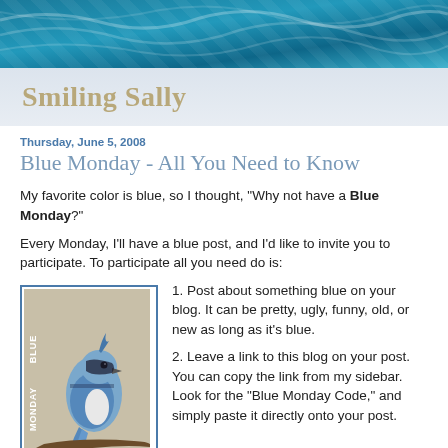[Figure (illustration): Teal/blue wavy water texture banner at top of blog page]
Smiling Sally
Thursday, June 5, 2008
Blue Monday - All You Need to Know
My favorite color is blue, so I thought, "Why not have a Blue Monday?"
Every Monday, I'll have a blue post, and I'd like to invite you to participate. To participate all you need do is:
[Figure (photo): Blue jay bird perched on a branch with text 'BLUE MONDAY' vertically along the side and URL http://smilingsally.blogspot.com at the bottom]
1. Post about something blue on your blog. It can be pretty, ugly, funny, old, or new as long as it's blue.
2. Leave a link to this blog on your post. You can copy the link from my sidebar. Look for the "Blue Monday Code," and simply paste it directly onto your post.